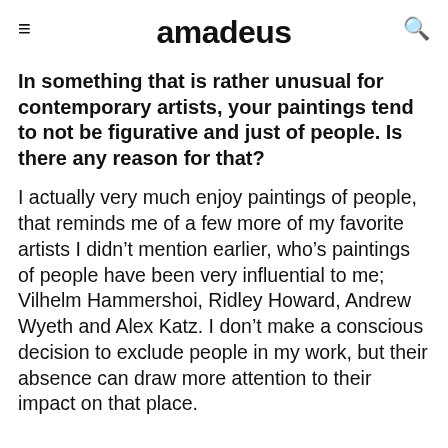amadeus
In something that is rather unusual for contemporary artists, your paintings tend to not be figurative and just of people. Is there any reason for that?
I actually very much enjoy paintings of people, that reminds me of a few more of my favorite artists I didn't mention earlier, who's paintings of people have been very influential to me; Vilhelm Hammershoi, Ridley Howard, Andrew Wyeth and Alex Katz. I don't make a conscious decision to exclude people in my work, but their absence can draw more attention to their impact on that place.